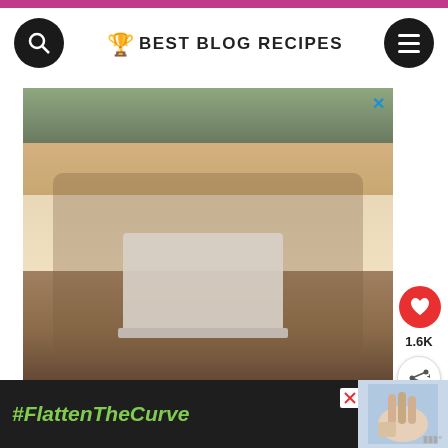BEST BLOG RECIPES
[Figure (photo): Father and daughter sitting on couch waving at laptop screen, with #AloneTogether hashtag banner below]
#AloneTogether
1.6K
WHAT'S NEXT → Best Key Lime Dessert...
[Figure (photo): Bottom advertisement banner with #FlattenTheCurve text and person washing hands image]